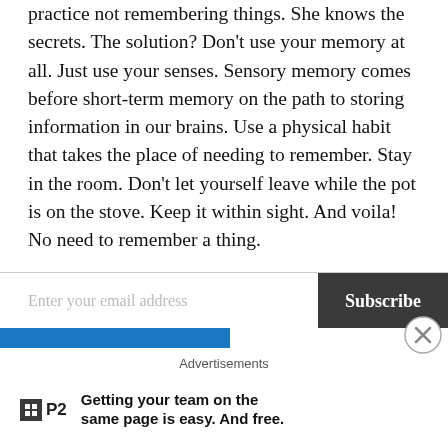practice not remembering things. She knows the secrets. The solution? Don't use your memory at all. Just use your senses. Sensory memory comes before short-term memory on the path to storing information in our brains. Use a physical habit that takes the place of needing to remember. Stay in the room. Don't let yourself leave while the pot is on the stove. Keep it within sight. And voila! No need to remember a thing.
Enter your email address
Subscribe
Advertisements
Getting your team on the same page is easy. And free.